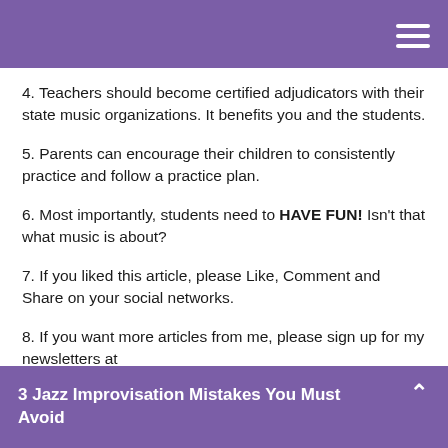4. Teachers should become certified adjudicators with their state music organizations. It benefits you and the students.
5. Parents can encourage their children to consistently practice and follow a practice plan.
6. Most importantly, students need to HAVE FUN! Isn't that what music is about?
7. If you liked this article, please Like, Comment and Share on your social networks.
8. If you want more articles from me, please sign up for my newsletters at
3 Jazz Improvisation Mistakes You Must Avoid